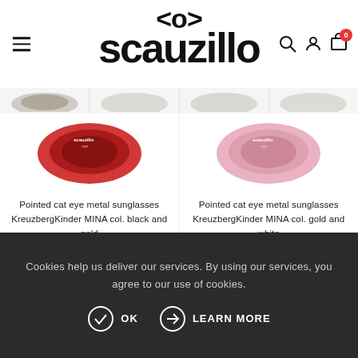[Figure (logo): Scauzillo logo with <o> symbol on top and 'scauzillo' text below in bold black]
[Figure (photo): Partial product images visible at top edge]
[Figure (photo): Pointed cat eye metal sunglasses red/black version, KreuzbergKinder MINA col. black and gold]
Pointed cat eye metal sunglasses KreuzbergKinder MINA col. black and gold
€155.00  €149.00
[Figure (photo): Pointed cat eye metal sunglasses pink/white version, KreuzbergKinder MINA col. gold and white]
Pointed cat eye metal sunglasses KreuzbergKinder MINA col. gold and white
€155.00  €149.00
Cookies help us deliver our services. By using our services, you agree to our use of cookies.
OK   LEARN MORE